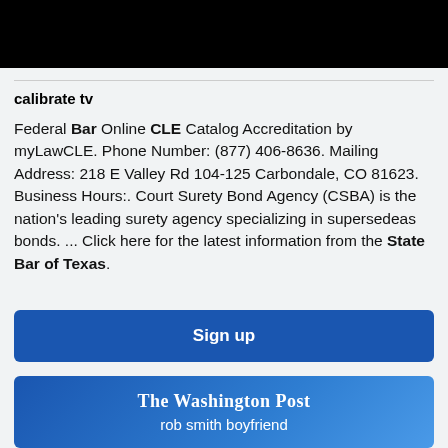calibrate tv
Federal Bar Online CLE Catalog Accreditation by myLawCLE. Phone Number: (877) 406-8636. Mailing Address: 218 E Valley Rd 104-125 Carbondale, CO 81623. Business Hours:. Court Surety Bond Agency (CSBA) is the nation's leading surety agency specializing in supersedeas bonds. ... Click here for the latest information from the State Bar of Texas.
Sign up
[Figure (logo): The Washington Post logo with text 'rob smith boyfriend' below it, displayed on a blue gradient background.]